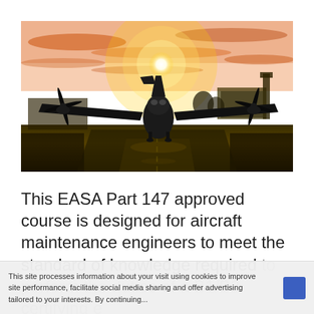[Figure (photo): A turboprop aircraft (ATR-style) on a runway at sunset/sunrise, with a warm golden-yellow sky. Airport terminal building visible in background on right. Dramatic backlit silhouette of propeller and wings.]
This EASA Part 147 approved course is designed for aircraft maintenance engineers to meet the standard of knowledge required to perform the duties of a B1/B2 certifying engineer... 00 a...
This site processes information about your visit using cookies to improve site performance, facilitate social media sharing and offer advertising tailored to your interests. By continuing...